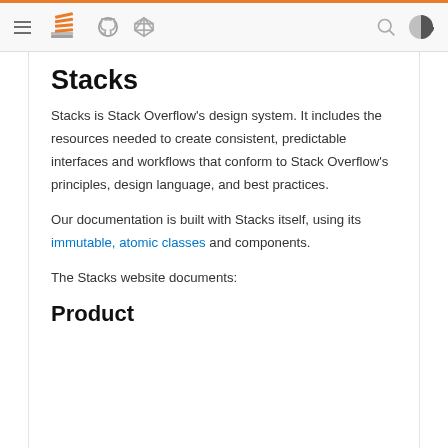Stack Overflow Stacks design system navigation bar
Stacks
Stacks is Stack Overflow’s design system. It includes the resources needed to create consistent, predictable interfaces and workflows that conform to Stack Overflow’s principles, design language, and best practices.
Our documentation is built with Stacks itself, using its immutable, atomic classes and components.
The Stacks website documents:
Product